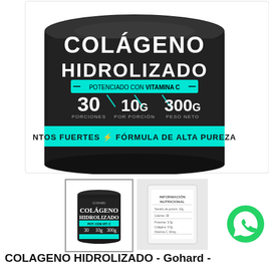[Figure (photo): Close-up product shot of a black supplement canister labeled 'COLÁGENO HIDROLIZADO' with teal accents. Text on container: 'POTENCIADO CON VITAMINA C', '30 PORCIONES', '10G POR PORCIÓN', '300G PESO NETO', cyan banner reading 'NTOS FUERTES ⚡ FÓRMULA DE ALTA PUREZA']
[Figure (photo): Thumbnail of full black canister with teal label reading COLÁGENO HIDROLIZADO, Gohard brand, showing 30, 10g, 300g on label]
[Figure (photo): Thumbnail of white/translucent nutrition facts packet showing INFORMACIÓN NUTRICIONAL label]
COLAGENO HIDROLIZADO - Gohard -